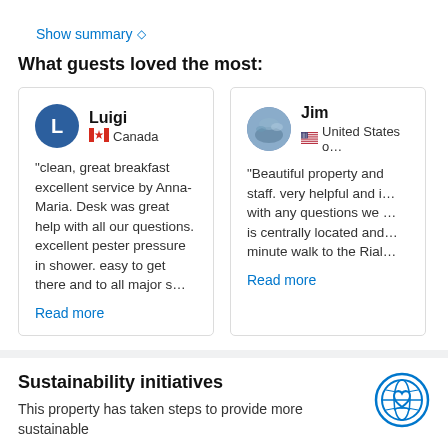Show summary ◇
What guests loved the most:
Luigi
Canada
"clean, great breakfast excellent service by Anna-Maria. Desk was great help with all our questions. excellent pester pressure in shower. easy to get there and to all major s…
Read more
Jim
United States o…
"Beautiful property and staff. very helpful and i… with any questions we … is centrally located and… minute walk to the Rial…
Read more
Sustainability initiatives
This property has taken steps to provide more sustainable